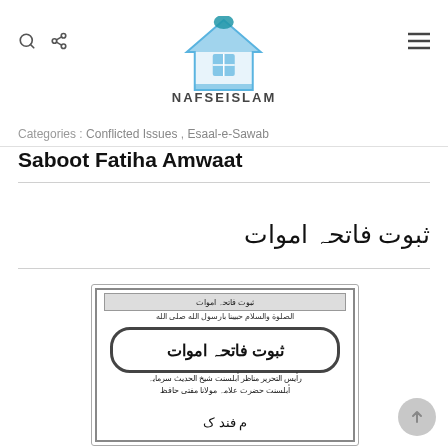[Figure (logo): NAFSEISLAM website logo with house/mosque icon and text NAFSEISLAM]
Categories : Conflicted Issues , Esaal-e-Sawab
Saboot Fatiha Amwaat
ثبوت فاتحہ اموات (Arabic/Urdu script title)
[Figure (photo): Book cover image showing 'Saboot Fatiha Amwaat' (ثبوت فاتحہ اموات) in Urdu, with decorative border and Arabic text]